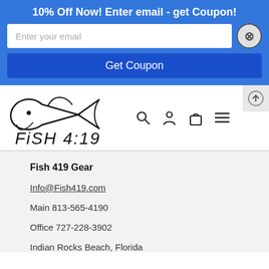10% Off Now! Enter email - get Coupon!
Enter your email
Get Coupon
[Figure (logo): Fish 4:19 logo with stylized fish ichthus symbol and handwritten 'FiSH 4:19' text]
Fish 419 Gear
Info@Fish419.com
Main 813-565-4190
Office 727-228-3902
Indian Rocks Beach, Florida